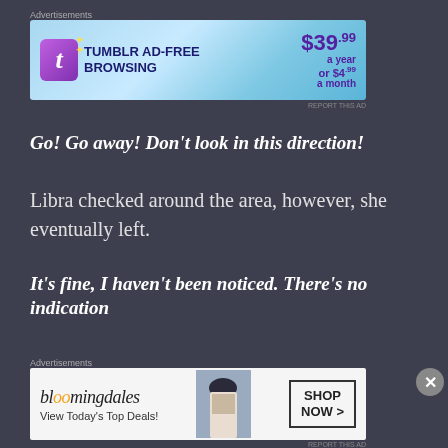[Figure (screenshot): Tumblr Ad-Free Browsing advertisement banner: $39.99 a year or $4.99 a month]
Go! Go away! Don't look in this direction!
Libra checked around the area, however, she eventually left.
It's fine, I haven't been noticed. There's no indication that
[Figure (screenshot): Bloomingdales advertisement: View Today's Top Deals! SHOP NOW >]